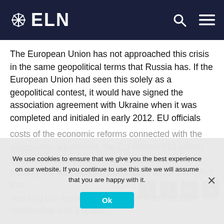ELN
The European Union has not approached this crisis in the same geopolitical terms that Russia has. If the European Union had seen this solely as a geopolitical contest, it would have signed the association agreement with Ukraine when it was completed and initialed in early 2012. EU officials instead insisted that the Ukrainian government implement certain actions before signature, wanting concrete steps to move Mr. Yanukovych's government toward European democratic norms.
When Ukrainian officials expressed concern about the costs of the economic reforms connected with the association agreement, the EU offered 610 million dollars, the European Union refuses to enter a bidding war with Russia. EU officials argued in effect that securing the association agreement and a closer relationship with Europe...
We use cookies to ensure that we give you the best experience on our website. If you continue to use this site we will assume that you are happy with it.